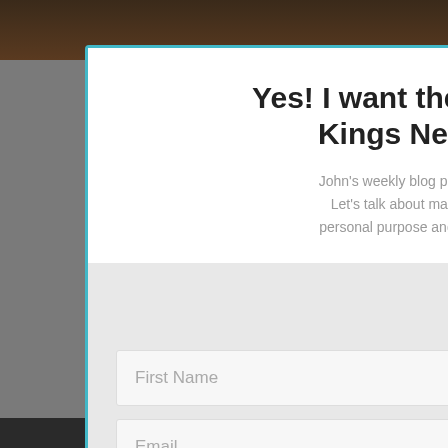[Figure (screenshot): Newsletter subscription popup modal overlaying a website. The modal has a blue border, a close (x) button, bold title 'Yes! I want the Releasing Kings Newsletter.', descriptive text about John's weekly blog posts, a gray form area with First Name and Email fields, and a teal SUBSCRIBE! button. A second partially visible modal appears behind on the right side showing 'Enter' heading and partial text 'By sharing... earn re...']